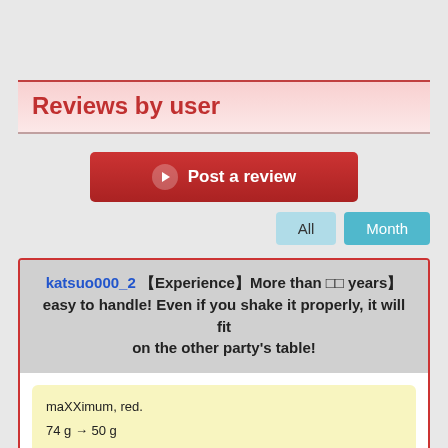Reviews by user
Post a review
All
Month
katsuo000_2 【Experience】More than □□ years】easy to handle! Even if you shake it properly, it will fit on the other party's table!
maXXimum, red.
74 g → 50 g
Measured from the sheet side, shore c hardness tester 43.3 °
D05: 48g, 50.0 °
T05: 47g, 44.6 °